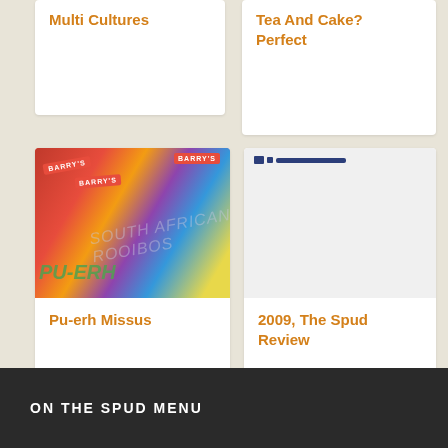Multi Cultures
Tea And Cake? Perfect
[Figure (photo): Packages of Barry's tea including Pu-erh and South African Rooibos varieties]
Pu-erh Missus
[Figure (screenshot): Small screenshot thumbnail with dark blue bar elements]
2009, The Spud Review
* by shareaholic
ads by shareaholic
ON THE SPUD MENU